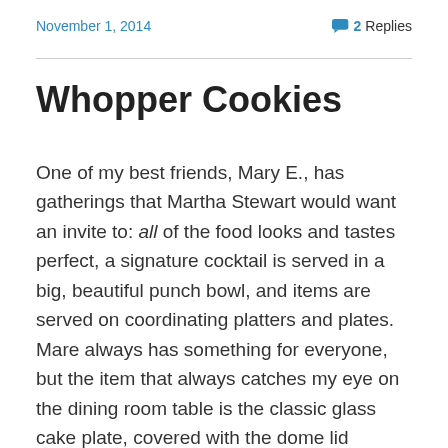November 1, 2014   💬 2 Replies
Whopper Cookies
One of my best friends, Mary E., has gatherings that Martha Stewart would want an invite to: all of the food looks and tastes perfect, a signature cocktail is served in a big, beautiful punch bowl, and items are served on coordinating platters and plates. Mare always has something for everyone, but the item that always catches my eye on the dining room table is the classic glass cake plate, covered with the dome lid protecting stacks of cookies like they were gold doubloons. It's no secret that, before I can even sample the punch or make myself a dinner plate, I sneak one of her famous Whopper cookies